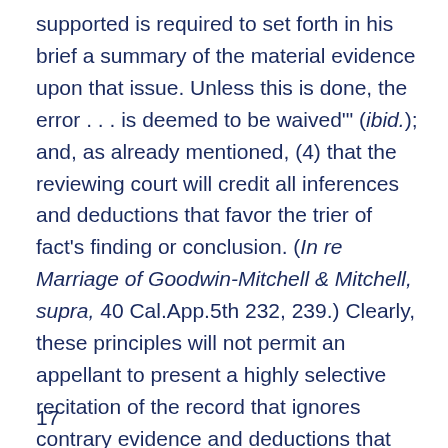supported is required to set forth in his brief a summary of the material evidence upon that issue. Unless this is done, the error . . . is deemed to be waived'" (ibid.); and, as already mentioned, (4) that the reviewing court will credit all inferences and deductions that favor the trier of fact's finding or conclusion. (In re Marriage of Goodwin-Mitchell & Mitchell, supra, 40 Cal.App.5th 232, 239.) Clearly, these principles will not permit an appellant to present a highly selective recitation of the record that ignores contrary evidence and deductions that are supportive of the finding and the judgment. And, we reiterate, the existence of a breach of fiduciary duty is a
17